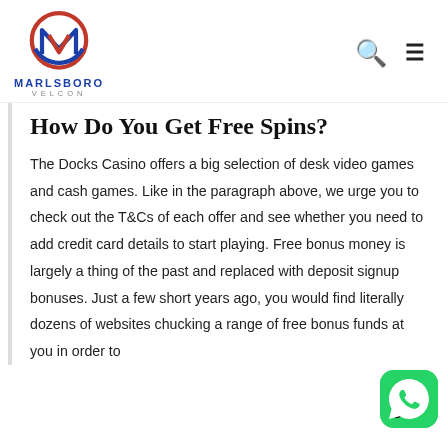MARLSBORO VELCON
How Do You Get Free Spins?
The Docks Casino offers a big selection of desk video games and cash games. Like in the paragraph above, we urge you to check out the T&Cs of each offer and see whether you need to add credit card details to start playing. Free bonus money is largely a thing of the past and replaced with deposit signup bonuses. Just a few short years ago, you would find literally dozens of websites chucking a range of free bonus funds at you in order to